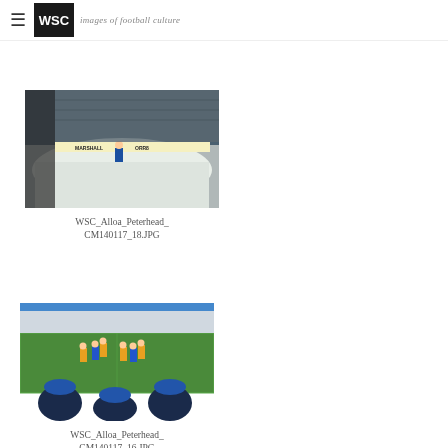WSC — images of football culture
[Figure (photo): Snow piled up along the terracing at a football ground, with advertising hoardings for MARSHALL and ORR8 visible, and a figure in blue clearing snow]
WSC_Alloa_Peterhead_CM140117_18.JPG
[Figure (photo): Football match in progress with players in gold/black and blue strips, spectators in blue hats watching from the foreground, mountains visible in background]
WSC_Alloa_Peterhead_CM140117_16.JPG
[Figure (photo): Panoramic view of snowy mountains and a town with a football ground in the foreground at dusk/dawn]
[Figure (photo): Panoramic view of snowy mountains and a football ground with floodlights at dusk/dawn, similar to the adjacent image]